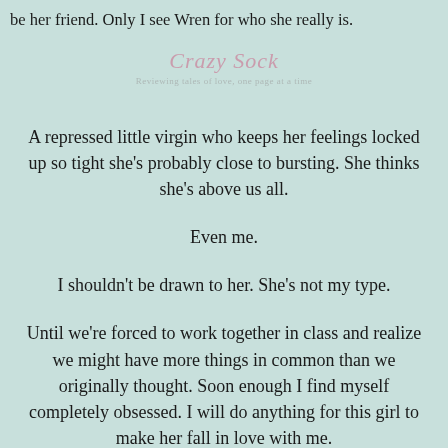be her friend. Only I see Wren for who she really is.
[Figure (illustration): Decorative book blog watermark/logo with cursive text 'Crazy Sock' and subtitle 'Reviewing tales of love, one page at a time', overlaid on illustrated figures]
A repressed little virgin who keeps her feelings locked up so tight she’s probably close to bursting. She thinks she’s above us all.
Even me.
I shouldn’t be drawn to her. She’s not my type.
Until we’re forced to work together in class and realize we might have more things in common than we originally thought. Soon enough I find myself completely obsessed. I will do anything for this girl to make her fall in love with me.
Anything.